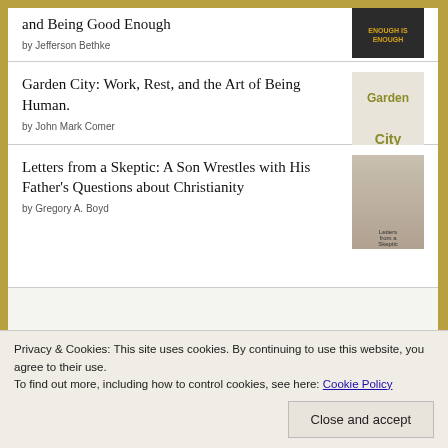Better Than Trying Harder, Doing More, and Being Good Enough
by Jefferson Bethke
Garden City: Work, Rest, and the Art of Being Human.
by John Mark Comer
Letters from a Skeptic: A Son Wrestles with His Father's Questions about Christianity
by Gregory A. Boyd
Privacy & Cookies: This site uses cookies. By continuing to use this website, you agree to their use.
To find out more, including how to control cookies, see here: Cookie Policy
Close and accept